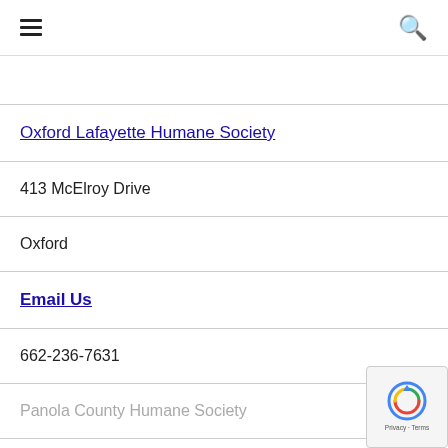≡  🔍
|  |
| Oxford Lafayette Humane Society |
| 413 McElroy Drive |
| Oxford |
| Email Us |
| 662-236-7631 |
| Panola County Humane Society |
[Figure (logo): reCAPTCHA badge with circular arrow logo and 'Privacy · Terms' text]